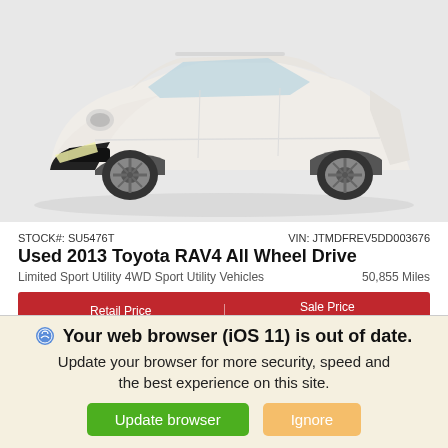[Figure (photo): White 2013 Toyota RAV4 SUV photographed from front-left angle against white background]
STOCK#: SU5476T    VIN: JTMDFREV5DD003676
Used 2013 Toyota RAV4 All Wheel Drive
Limited Sport Utility 4WD Sport Utility Vehicles    50,855 Miles
Retail Price $23,901  |  Sale Price $18,888
Your web browser (iOS 11) is out of date. Update your browser for more security, speed and the best experience on this site.
Update browser    Ignore